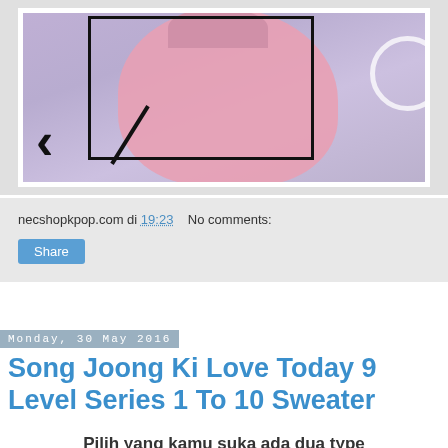[Figure (photo): Person in pink hoodie lying on purple/lavender background with geometric decorative elements and black rectangle outline overlay]
necshopkpop.com di 19:23    No comments:
Share
Monday, 30 May 2016
Song Joong Ki Love Today 9 Level Series 1 To 10 Sweater
Pilih yang kamu suka ada dua type